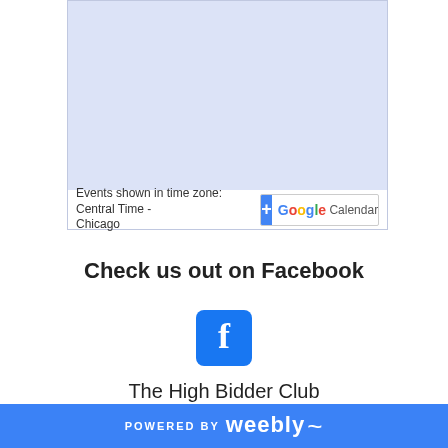[Figure (screenshot): Google Calendar embedded widget with light blue/lavender background, showing timezone footer 'Events shown in time zone: Central Time - Chicago' and Google Calendar button with blue plus icon]
Check us out on Facebook
[Figure (logo): Facebook logo icon - blue rounded square with white lowercase f]
The High Bidder Club
Located inside Irondale Pickers at 5401 Beacon Drive,
POWERED BY weebly